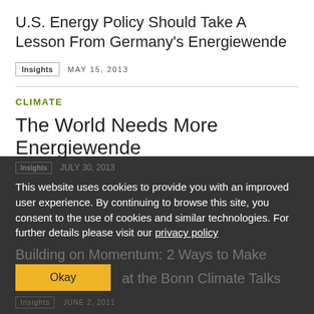U.S. Energy Policy Should Take A Lesson From Germany's Energiewende
Insights   MAY 15, 2013
CLIMATE
The World Needs More Energiewende
Insights   JULY 30, 2013
This website uses cookies to provide you with an improved user experience. By continuing to browse this site, you consent to the use of cookies and similar technologies. For further details please visit our privacy policy
Building on Momentum: 2 Ways to Make at the Bonn Climate Talks
Insights   JUNE 2, 2011